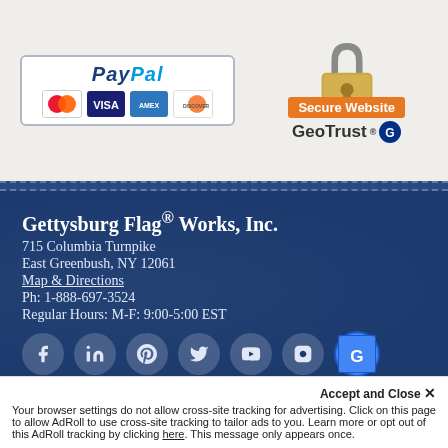[Figure (logo): PayPal payment badge with MasterCard, VISA, AMEX, Discover card icons]
[Figure (logo): GeoTrust Secure Website padlock badge]
Gettysburg Flag® Works, Inc.
715 Columbia Turnpike
East Greenbush, NY 12061
Map & Directions
Ph: 1-888-697-3524
Regular Hours: M-F: 9:00-5:00 EST
[Figure (logo): Social media icons: Facebook, LinkedIn, Pinterest, Twitter, YouTube, Instagram, Google]
[Figure (logo): GeoTrust Secure Website padlock badge (bottom)]
[Figure (illustration): City silhouette illustration]
Accept and Close ✕
Your browser settings do not allow cross-site tracking for advertising. Click on this page to allow AdRoll to use cross-site tracking to tailor ads to you. Learn more or opt out of this AdRoll tracking by clicking here. This message only appears once.